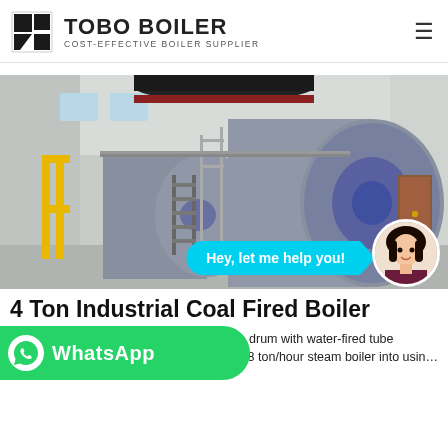TOBO BOILER — COST-EFFECTIVE BOILER SUPPLIER
[Figure (photo): Industrial coal fired boiler installation in a factory building — two large horizontal cylindrical boilers with piping, scaffolding, yellow structural supports, and a red door in the background. Chat bubble overlay: 'Hey, let me help you!' with a female customer service avatar.]
4 Ton Industrial Coal Fired Boiler
biomass fired steam boiler, high quality gle drum with water-fired tube structure, Our Hoduras customer need the 8 ton/hour steam boiler into usin…